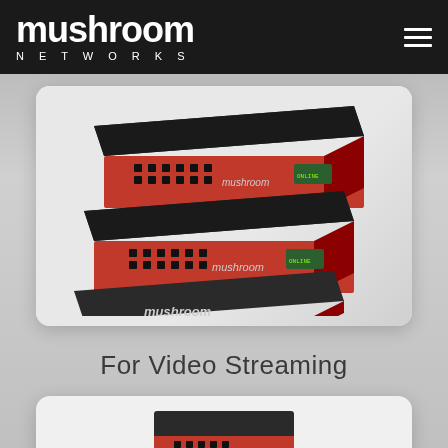mushroom NETWORKS
[Figure (photo): Two Mushroom Networks hardware appliances (red and black rack-mount units) stacked on top of each other, showing front and back panels with ports and branding.]
For Video Streaming
[Figure (photo): Bottom portion of another Mushroom Networks hardware device, partially visible at the bottom of the page.]